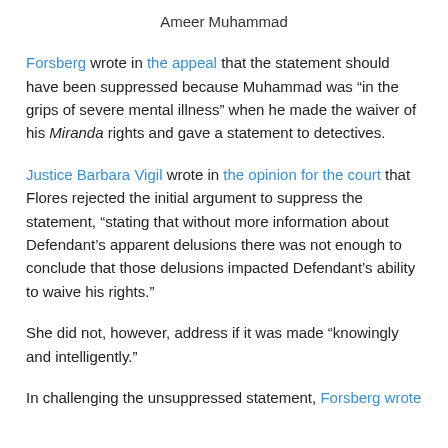Ameer Muhammad
Forsberg wrote in the appeal that the statement should have been suppressed because Muhammad was “in the grips of severe mental illness” when he made the waiver of his Miranda rights and gave a statement to detectives.
Justice Barbara Vigil wrote in the opinion for the court that Flores rejected the initial argument to suppress the statement, “stating that without more information about Defendant’s apparent delusions there was not enough to conclude that those delusions impacted Defendant’s ability to waive his rights.”
She did not, however, address if it was made “knowingly and intelligently.”
In challenging the unsuppressed statement, Forsberg wrote